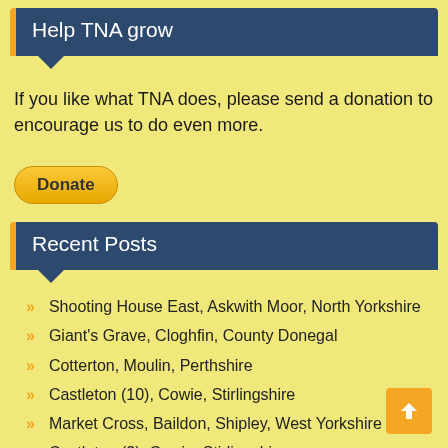Help TNA grow
If you like what TNA does, please send a donation to encourage us to do even more.
Donate
Recent Posts
Shooting House East, Askwith Moor, North Yorkshire
Giant's Grave, Cloghfin, County Donegal
Cotterton, Moulin, Perthshire
Castleton (10), Cowie, Stirlingshire
Market Cross, Baildon, Shipley, West Yorkshire
Castleton (3), Cowie, Stirlingshire
Dome Rock, St Fillans, Comrie, Perthshire
Castleton (12), Cowie, Stirlingshire
Castleton (11), Cowie, Stirlingshire
Market Cross, Harrogate, West Yorkshire